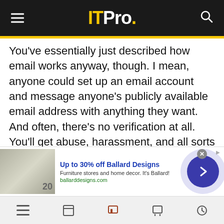ITPro.
You've essentially just described how email works anyway, though. I mean, anyone could set up an email account and message anyone's publicly available email address with anything they want. And often, there's no verification at all. You'll get abuse, harassment, and all sorts of unwanted messages. I'm, to some extent, I'm playing devil's advocate here, because I don't think that's great, either. But it's, it's curious to me how thinking back, Slack faced such heavy backlash over this, when essentially, they were
[Figure (screenshot): Advertisement banner for Ballard Designs: 'Up to 30% off Ballard Designs. Furniture stores and home decor. It's Ballard! ballarddesigns.com' with a furniture image on the left and a blue arrow button on the right.]